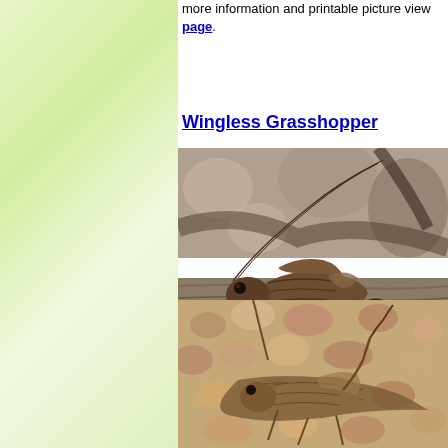more information and printable picture view page.
Wingless Grasshopper
[Figure (photo): Close-up photo of a wingless grasshopper perched on weathered wood, showing brown body with detailed texture, antennae visible, side view]
[Figure (photo): Second photo of a wingless grasshopper on rocky/gravelly ground, brown coloration blending with surroundings]